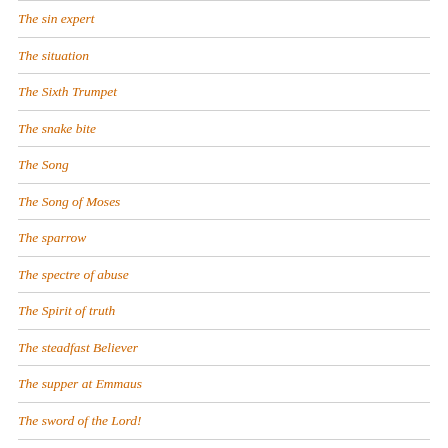The sin expert
The situation
The Sixth Trumpet
The snake bite
The Song
The Song of Moses
The sparrow
The spectre of abuse
The Spirit of truth
The steadfast Believer
The supper at Emmaus
The sword of the Lord!